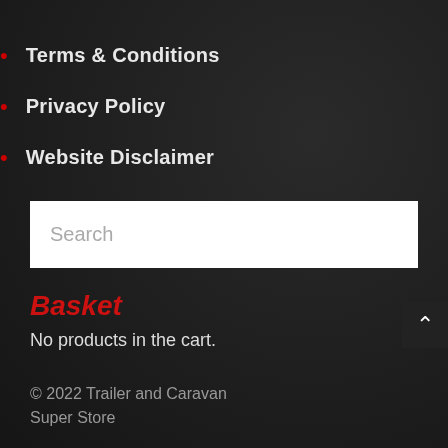Terms & Conditions
Privacy Policy
Website Disclaimer
Search
Basket
No products in the cart.
© 2022 Trailer and Caravan Super Store